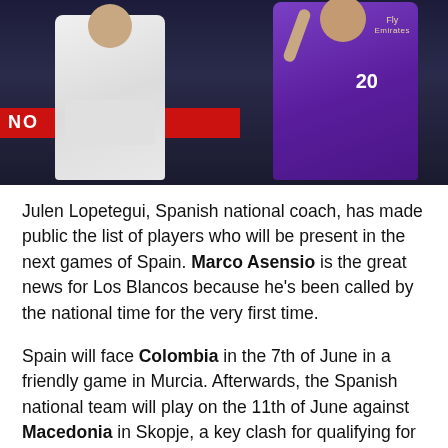[Figure (photo): Two soccer players on a pitch — one in white kit (left) and one in purple Real Madrid kit with number 20 (right). A red advertising hoarding is visible in the background. The purple kit shows 'Fly Emirates' sponsor text.]
Julen Lopetegui, Spanish national coach, has made public the list of players who will be present in the next games of Spain. Marco Asensio is the great news for Los Blancos because he's been called by the national time for the very first time.
Spain will face Colombia in the 7th of June in a friendly game in Murcia. Afterwards, the Spanish national team will play on the 11th of June against Macedonia in Skopje, a key clash for qualifying for the Russian World Cup.
The national coach has called six Real Madrid players: Carvajal, Ramos, Nacho, Isco, Asensio and Morata. They'll join the group later than their colleagues because the appointment is for the 3rd of